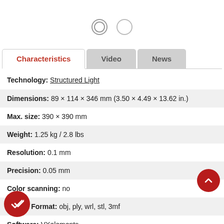[Figure (other): Two navigation dots (carousel indicators) — one with inner ring (active), one plain circle (inactive)]
[Figure (screenshot): Tab navigation bar with three tabs: Characteristics (active, red text), Video, News]
Technology: Structured Light
Dimensions: 89 × 114 × 346 mm (3.50 × 4.49 × 13.62 in.)
Max. size: 390 × 390 mm
Weight: 1.25 kg / 2.8 lbs
Resolution: 0.1 mm
Precision: 0.05 mm
Color scanning: no
Export Format: obj, ply, wrl, stl, 3mf
Software: VXelements